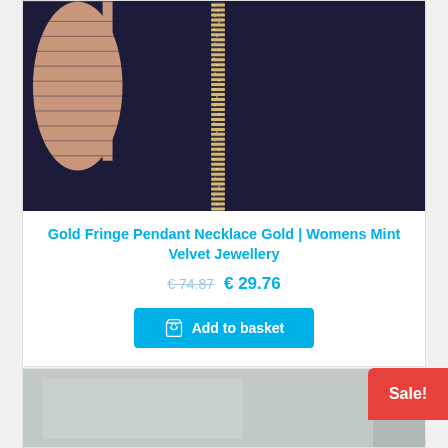[Figure (photo): Close-up photo of a gold fringe pendant necklace with rhinestones against a dark navy blue knit fabric background]
Gold Fringe Pendant Necklace Gold | Womens Mint Velvet Jewellery
€ 74.87  € 29.76
Add to basket
[Figure (photo): Partial product photo at the bottom of the page, grey/silver background, partially visible]
Sale!